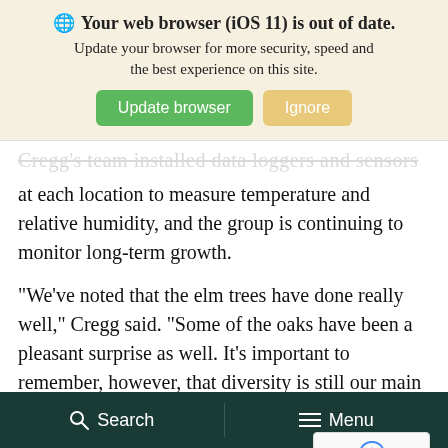[Figure (screenshot): Browser update notification banner with globe icon, bold title 'Your web browser (iOS 11) is out of date.', subtitle text, and two buttons: green 'Update browser' and tan 'Ignore']
Cregg's team installed data loggers and sensors at each location to measure temperature and relative humidity, and the group is continuing to monitor long-term growth.
“We’ve noted that the elm trees have done really well,” Cregg said. “Some of the oaks have been a pleasant surprise as well. It’s important to remember, however, that diversity is still our main risk-management tool. We’re looking the best trees, but we have to be mindful o and make sure we’re protecting ourselves in
Search   Menu